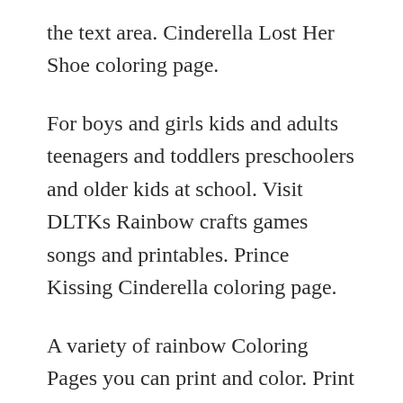the text area. Cinderella Lost Her Shoe coloring page.
For boys and girls kids and adults teenagers and toddlers preschoolers and older kids at school. Visit DLTKs Rainbow crafts games songs and printables. Prince Kissing Cinderella coloring page.
A variety of rainbow Coloring Pages you can print and color. Print out the file on A4 or Letter size paper or cardstock. We have for you a compilation of wonderful rainbow coloring pages which you can instantly download take